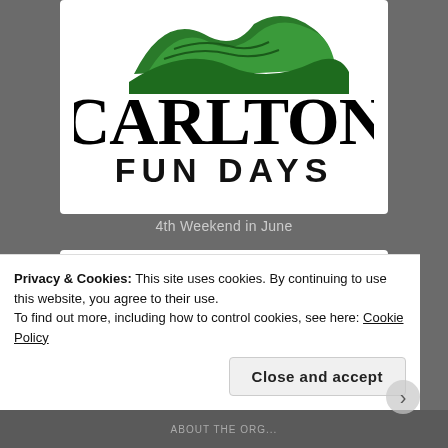[Figure (logo): Carlton Fun Days logo with green hills/waves and black text reading CARLTON FUN DAYS]
4th Weekend in June
[Figure (illustration): Two circular badge/patch designs with colorful text reading 'in our hearts' and 'Anchor' with a sneaker/shoe graphic in neon colors on pink circles]
Privacy & Cookies: This site uses cookies. By continuing to use this website, you agree to their use.
To find out more, including how to control cookies, see here: Cookie Policy
Close and accept